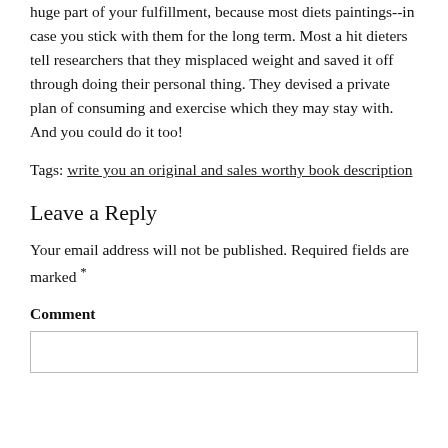huge part of your fulfillment, because most diets paintings--in case you stick with them for the long term. Most a hit dieters tell researchers that they misplaced weight and saved it off through doing their personal thing. They devised a private plan of consuming and exercise which they may stay with. And you could do it too!
Tags: write you an original and sales worthy book description
Leave a Reply
Your email address will not be published. Required fields are marked *
Comment